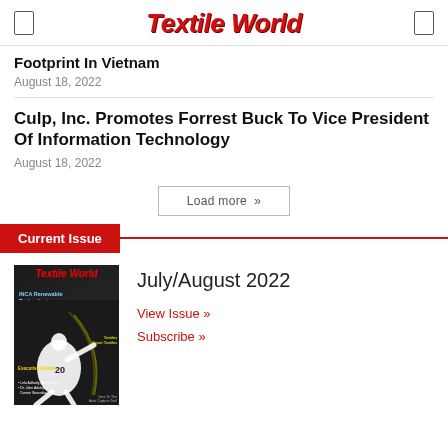Textile World
Footprint In Vietnam
August 18, 2022
Culp, Inc. Promotes Forrest Buck To Vice President Of Information Technology
August 18, 2022
Load more
Current Issue
[Figure (photo): Cover of Textile World July/August 2022 magazine showing a baseball pitcher in action with INCA Renewable Technologies headline]
July/August 2022
View Issue »
Subscribe »